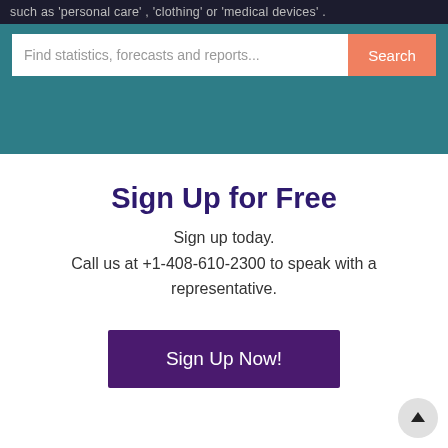such as 'personal care', 'clothing' or 'medical devices'.
[Figure (screenshot): Search bar with placeholder text 'Find statistics, forecasts and reports...' and an orange 'Search' button on a teal background]
Sign Up for Free
Sign up today.
Call us at +1-408-610-2300 to speak with a representative.
Sign Up Now!